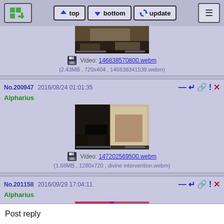top | bottom | update
[Figure (screenshot): Video game screenshot (FPS/shooter) cropped at top]
Video: 146838570800.webm
(2.43MB , 720x404 , 146838341539.webm)
No.200947  2016/08/24 01:01:35
Alpharius
[Figure (screenshot): Video game screenshot showing indoor shooter level]
Video: 147202569500.webm
(1.68MB , 1280x720 , divine intervention.webm)
No.201158  2016/09/29 17:04:11
Alpharius
[Figure (screenshot): Colorful video game screenshot featuring a green character (Yoshi/Mario 64 style)]
Post reply